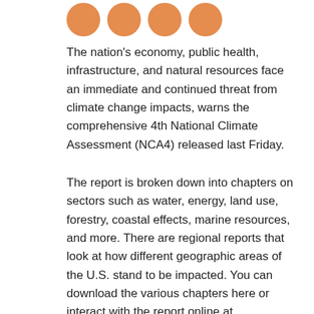[Figure (illustration): Four orange circular icon badges in a row at the top of the page]
The nation's economy, public health, infrastructure, and natural resources face an immediate and continued threat from climate change impacts, warns the comprehensive 4th National Climate Assessment (NCA4) released last Friday.
The report is broken down into chapters on sectors such as water, energy, land use, forestry, coastal effects, marine resources, and more. There are regional reports that look at how different geographic areas of the U.S. stand to be impacted. You can download the various chapters here or interact with the report online at https://nca2018.globalchange.gov/.